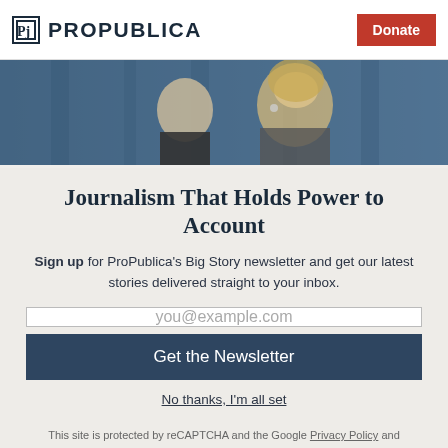ProPublica | Donate
[Figure (photo): Press conference photo showing a woman with blonde hair speaking at a podium, with a man in a suit visible behind her, blue curtains in background]
Journalism That Holds Power to Account
Sign up for ProPublica's Big Story newsletter and get our latest stories delivered straight to your inbox.
you@example.com
Get the Newsletter
No thanks, I'm all set
This site is protected by reCAPTCHA and the Google Privacy Policy and Terms of Service apply.